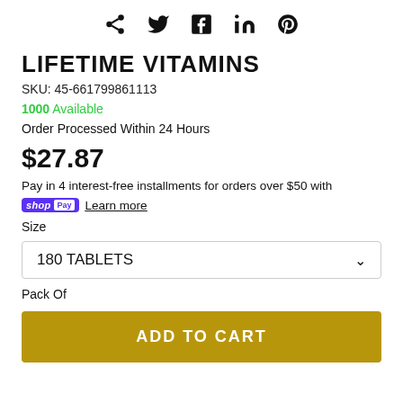[Figure (other): Social sharing icons: share, Twitter, Facebook, LinkedIn, Pinterest]
LIFETIME VITAMINS
SKU: 45-661799861113
1000 Available
Order Processed Within 24 Hours
$27.87
Pay in 4 interest-free installments for orders over $50 with
shop Pay  Learn more
Size
180 TABLETS
Pack Of
ADD TO CART